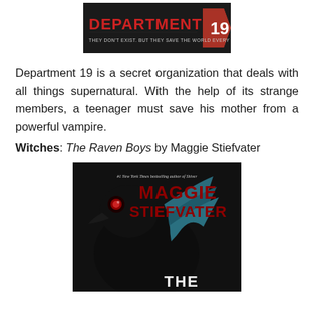[Figure (illustration): Book cover image of 'Department 19' with dark red stylized text and tagline 'THEY DON'T EXIST. BUT THEY SAVE THE WORLD EVERY DAY.']
Department 19 is a secret organization that deals with all things supernatural. With the help of its strange members, a teenager must save his mother from a powerful vampire.
Witches: The Raven Boys by Maggie Stiefvater
[Figure (illustration): Book cover of 'The Raven Boys' by Maggie Stiefvater, showing a large dark raven with teal feathers and red eye, author name in large maroon letters at top.]